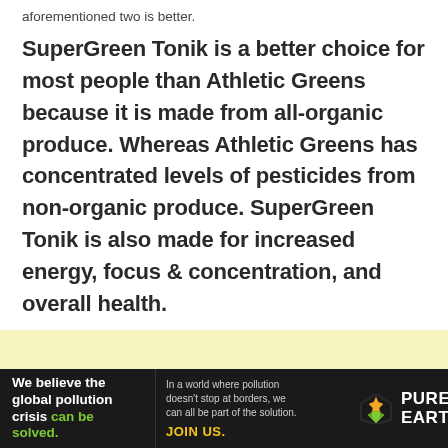aforementioned two is better.
SuperGreen Tonik is a better choice for most people than Athletic Greens because it is made from all-organic produce. Whereas Athletic Greens has concentrated levels of pesticides from non-organic produce. SuperGreen Tonik is also made for increased energy, focus & concentration, and overall health.
[Figure (other): Light yellow advertisement placeholder block]
[Figure (other): Pure Earth advertisement banner: 'We believe the global pollution crisis can be solved. In a world where pollution doesn't stop at borders, we can all be part of the solution. JOIN US.' with Pure Earth logo.]